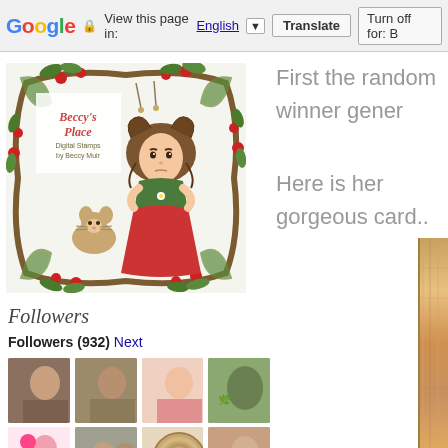Google  View this page in: English [▼]  Translate  Turn off for: B
[Figure (logo): Beccy's Place Digital Stamps by Beccy Muir illustrated logo — a girl in red dress with curly hair sitting cross-legged with a small cat/mouse, surrounded by a decorative vine frame with red berries and green leaves]
First the random winner gener
Here is her gorgeous card..
Followers
Followers (932) Next
[Figure (photo): Grid of follower avatar photos, 3 rows of 4 avatars each showing various user profile pictures]
[Figure (photo): Partial card image visible on far right edge of page]